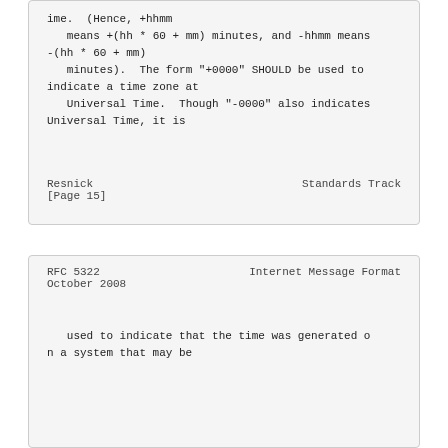ime.  (Hence, +hhmm
   means +(hh * 60 + mm) minutes, and -hhmm means
-(hh * 60 + mm)
   minutes).  The form "+0000" SHOULD be used to
indicate a time zone at
   Universal Time.  Though "-0000" also indicates
Universal Time, it is
Resnick                     Standards Track
[Page 15]
RFC 5322              Internet Message Format
October 2008
used to indicate that the time was generated o
n a system that may be